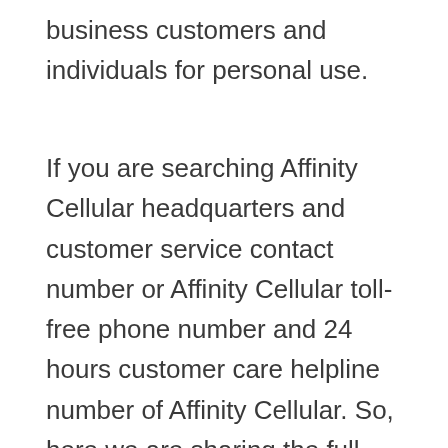business customers and individuals for personal use.
If you are searching Affinity Cellular headquarters and customer service contact number or Affinity Cellular toll-free phone number and 24 hours customer care helpline number of Affinity Cellular. So, here we are sharing the full contact information of Affinity Cellular headquarters and customer service department provided by Affinity Cellular. You can check below.